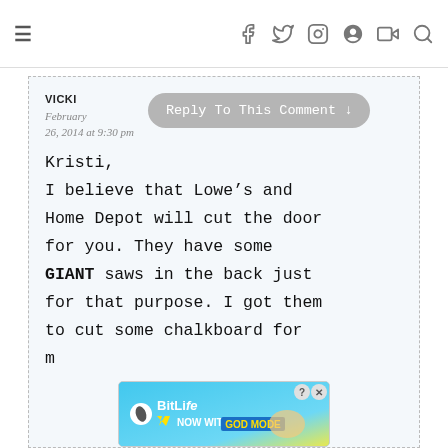≡  f  𝕥  ⊙  ℗  ▶  🔍
VICKI
February 26, 2014 at 9:30 pm
Reply To This Comment ↓
Kristi,
I believe that Lowe's and Home Depot will cut the door for you. They have some GIANT saws in the back just for that purpose. I got them to cut some chalkboard for m…
[Figure (screenshot): BitLife advertisement banner with 'NOW WITH GOD MODE' text]